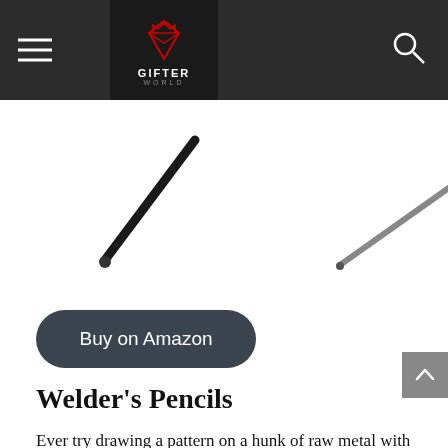Gifter World navigation bar with hamburger menu and search icon
[Figure (photo): Two welder's pencils shown as dark rods crossing each other at an angle on a white background]
[Figure (other): Dark rounded rectangle button with white text 'Buy on Amazon']
Welder's Pencils
Ever try drawing a pattern on a hunk of raw metal with a ball-point pen? No dice, Picasso. You're going to need a set of special pencils. These very sensible gifts for welders make clearly visible, silvery marks on metal-in-waiting. What's more, the markings actually illuminate